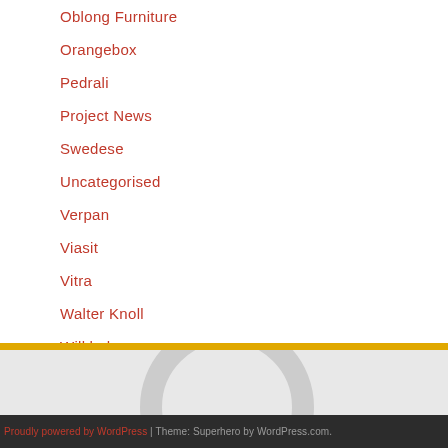Oblong Furniture
Orangebox
Pedrali
Project News
Swedese
Uncategorised
Verpan
Viasit
Vitra
Walter Knoll
Wilkhahn
[Figure (illustration): Decorative footer section with a yellow horizontal bar on top, light gray background with two large circular arc decorative elements, followed by a dark gray footer bar.]
Proudly powered by WordPress | Theme: Superhero by WordPress.com.